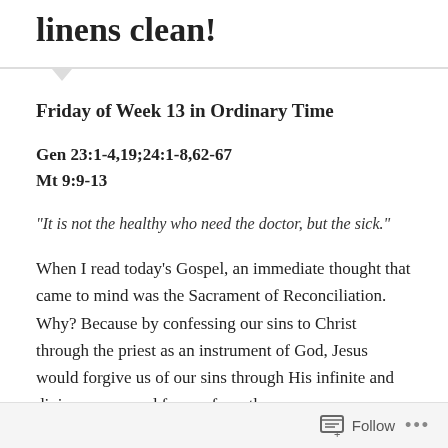linens clean!
Friday of Week 13 in Ordinary Time
Gen 23:1-4,19;24:1-8,62-67
Mt 9:9-13
“It is not the healthy who need the doctor, but the sick.”
When I read today’s Gospel, an immediate thought that came to mind was the Sacrament of Reconciliation. Why? Because by confessing our sins to Christ through the priest as an instrument of God, Jesus would forgive us of our sins through His infinite and divine mercy, and free us from the
Follow •••